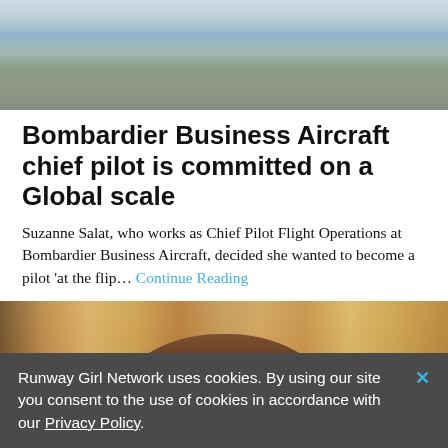[Figure (photo): Aerial landscape photo showing sky with clouds and mountain ridge below, likely taken from an aircraft]
Bombardier Business Aircraft chief pilot is committed on a Global scale
Suzanne Salat, who works as Chief Pilot Flight Operations at Bombardier Business Aircraft, decided she wanted to become a pilot 'at the flip... Continue Reading
[Figure (photo): Close-up portrait photo of a woman with dark hair outdoors at an airport, aircraft visible in background]
Runway Girl Network uses cookies. By using our site you consent to the use of cookies in accordance with our Privacy Policy.